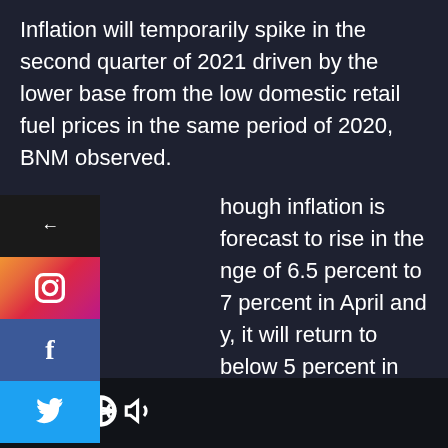Inflation will temporarily spike in the second quarter of 2021 driven by the lower base from the low domestic retail fuel prices in the same period of 2020, BNM observed.
Though inflation is forecast to rise in the range of 6.5 percent to 7 percent in April and May, it will return to below 5 percent in June, the bank said.
The current account surplus fell to MYR 12.3 billion from MYR 19 billion in the fourth